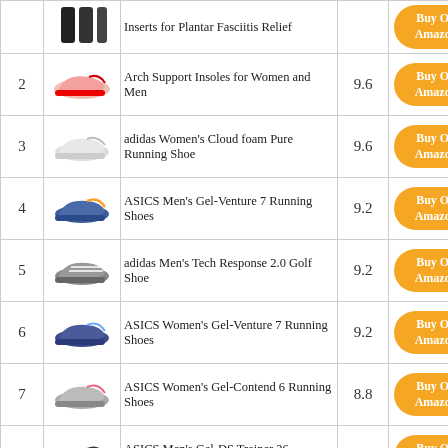| # | Image | Product Name | Score | Link |
| --- | --- | --- | --- | --- |
| 1 | [image] | Inserts for Plantar Fasciitis Relief | 9.2 | Buy On Amazon |
| 2 | [image] | Arch Support Insoles for Women and Men | 9.6 | Buy On Amazon |
| 3 | [image] | adidas Women's Cloud foam Pure Running Shoe | 9.6 | Buy On Amazon |
| 4 | [image] | ASICS Men's Gel-Venture 7 Running Shoes | 9.2 | Buy On Amazon |
| 5 | [image] | adidas Men's Tech Response 2.0 Golf Shoe | 9.2 | Buy On Amazon |
| 6 | [image] | ASICS Women's Gel-Venture 7 Running Shoes | 9.2 | Buy On Amazon |
| 7 | [image] | ASICS Women's Gel-Contend 6 Running Shoes | 8.8 | Buy On Amazon |
| 8 | [image] | ASICS Men's Gel-DS Trainer 26 Running Shoes | 8.8 | Buy On Amazon |
| 9 | [image] | Plantar Fasciitis Arch Support Insoles for Men and Women Shoe Inserts - Orthotic Inserts - Flat Feet Foot - Running Athletic Gel Shoe | 8.6 | Buy On Amazon |